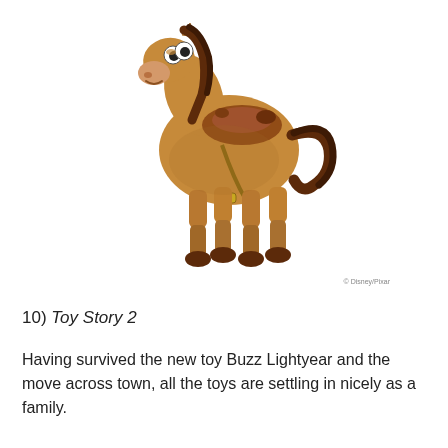[Figure (illustration): Bullseye the toy horse from Toy Story 2 - a CGI rendered brown horse toy with a saddle, stirrups, white eyes with pupils, brown mane and tail, and segmented wooden-looking legs, shown in a standing pose on a white background. Disney/Pixar copyright mark visible.]
10) Toy Story 2
Having survived the new toy Buzz Lightyear and the move across town, all the toys are settling in nicely as a family.